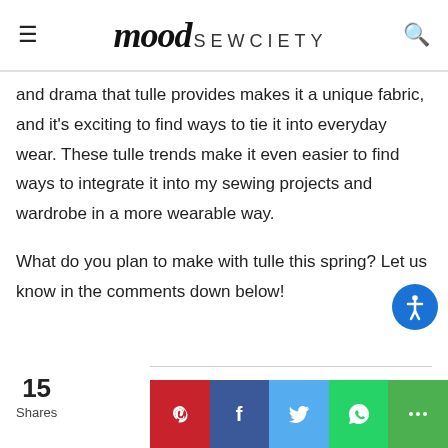mood SEWCIETY
and drama that tulle provides makes it a unique fabric, and it's exciting to find ways to tie it into everyday wear. These tulle trends make it even easier to find ways to integrate it into my sewing projects and wardrobe in a more wearable way.
What do you plan to make with tulle this spring? Let us know in the comments down below!
15 Shares